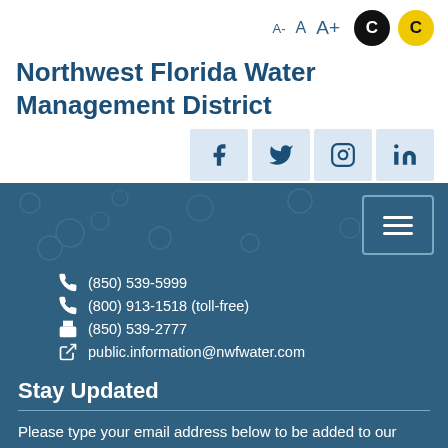A-  A  A+  [contrast controls]
Northwest Florida Water Management District
[Figure (screenshot): Social media icons row: Facebook, Twitter, Instagram, LinkedIn on light blue backgrounds]
[Figure (screenshot): Blue section with water droplet background texture and hamburger menu button]
(850) 539-5999
(800) 913-1518 (toll-free)
(850) 539-2777
public.information@nwfwater.com
Stay Updated
Please type your email address below to be added to our email distribution list. Please see our Privacy Policy regarding use and confidentially of your email address.